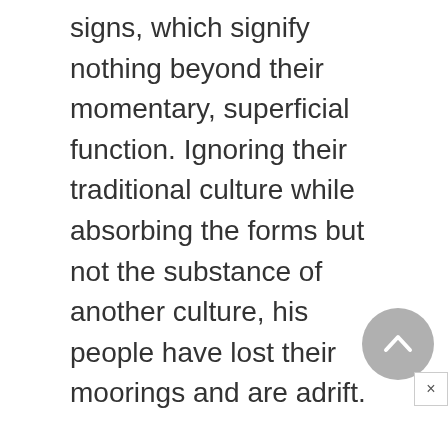signs, which signify nothing beyond their momentary, superficial function. Ignoring their traditional culture while absorbing the forms but not the substance of another culture, his people have lost their moorings and are adrift.
To a considerable degree, Murakami's characters are universal stock figures of contemporary literature, almost a cliché of the existential condition.
Lonely, fragmented, unable to